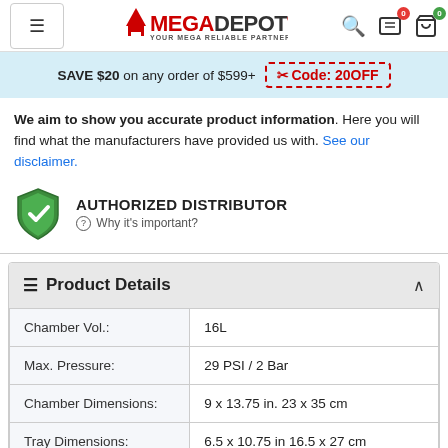MegaDepot - Your Mega Reliable Partner
SAVE $20 on any order of $599+  Code: 20OFF
We aim to show you accurate product information. Here you will find what the manufacturers have provided us with. See our disclaimer.
AUTHORIZED DISTRIBUTOR
⓪ Why it's important?
Product Details
| Property | Value |
| --- | --- |
| Chamber Vol.: | 16L |
| Max. Pressure: | 29 PSI / 2 Bar |
| Chamber Dimensions: | 9 x 13.75 in. 23 x 35 cm |
| Tray Dimensions: | 6.5 x 10.75 in 16.5 x 27 cm |